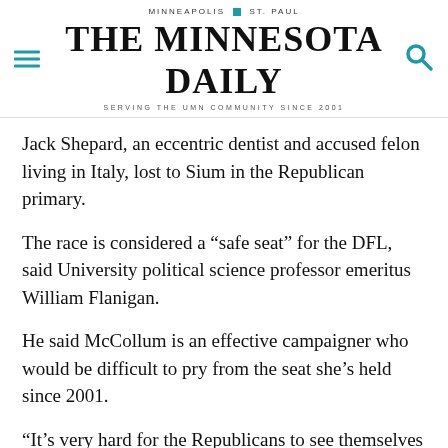MINNEAPOLIS | ST. PAUL
THE MINNESOTA DAILY
SERVING THE UMN COMMUNITY SINCE 2001
Jack Shepard, an eccentric dentist and accused felon living in Italy, lost to Sium in the Republican primary.
The race is considered a “safe seat” for the DFL, said University political science professor emeritus William Flanigan.
He said McCollum is an effective campaigner who would be difficult to pry from the seat she’s held since 2001.
“It’s very hard for the Republicans to see themselves as successfully challenging her,” Flanigan said. “And so they put their effort and money into other races.”